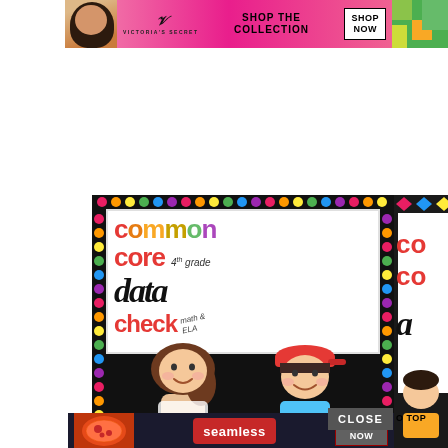[Figure (screenshot): Victoria's Secret advertisement banner — pink background, model photo on left, VS cursive logo, 'SHOP THE COLLECTION' text, white 'SHOP NOW' button. Partial colorful image visible top-right.]
[Figure (infographic): 22 Words circular teal badge logo and heading text: '37 ITEMS PEOPLE LOVE TO PURCHASE ON AMAZON']
[Figure (screenshot): Educational product cover image: 'Common Core 4th Grade Data Check Math & ELA' with colorful lettering on black polka-dot border background, cartoon children illustrations. Partial second similar product visible on right.]
[Figure (screenshot): Seamless food delivery advertisement at bottom — dark background, pizza image on left, red Seamless logo, grey 'ORDER NOW' button. 'CLOSE' overlay button visible. Partial 'O TOP' text at right.]